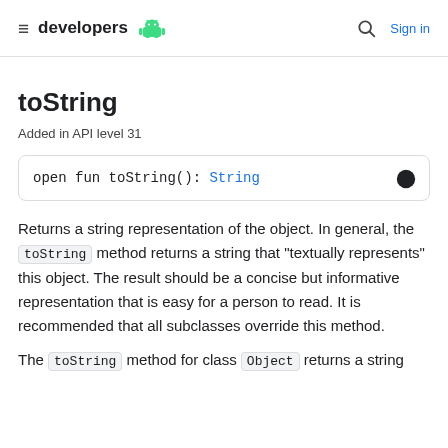≡ developers 🤖  🔍 Sign in
toString
Added in API level 31
open fun toString(): String
Returns a string representation of the object. In general, the toString method returns a string that "textually represents" this object. The result should be a concise but informative representation that is easy for a person to read. It is recommended that all subclasses override this method.
The toString method for class Object returns a string